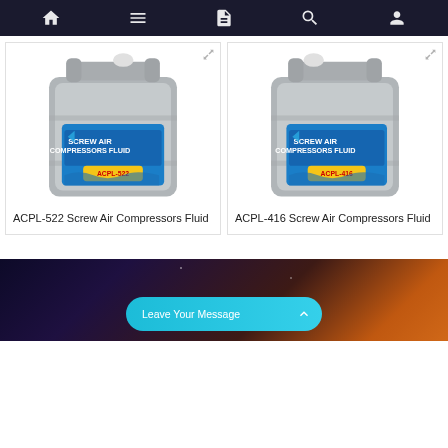Navigation bar with home, menu, document, search, and account icons
[Figure (photo): Gray plastic jerry can / container with blue label reading 'SCREW AIR COMPRESSORS FLUID ACPL-522' — product photo]
ACPL-522 Screw Air Compressors Fluid
[Figure (photo): Gray plastic jerry can / container with blue label reading 'SCREW AIR COMPRESSORS FLUID ACPL-416' — product photo]
ACPL-416 Screw Air Compressors Fluid
[Figure (photo): Dark banner background with orange/purple gradient and a 'Leave Your Message' teal button with chevron up arrow]